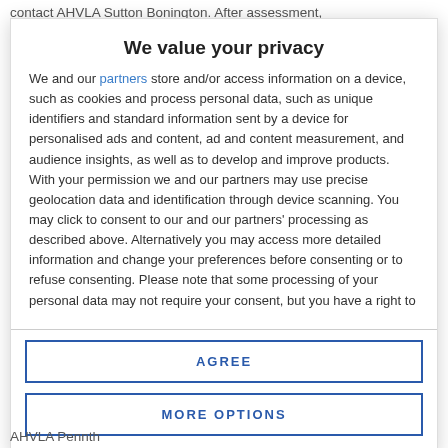contact AHVLA Sutton Bonington. After assessment,
We value your privacy
We and our partners store and/or access information on a device, such as cookies and process personal data, such as unique identifiers and standard information sent by a device for personalised ads and content, ad and content measurement, and audience insights, as well as to develop and improve products. With your permission we and our partners may use precise geolocation data and identification through device scanning. You may click to consent to our and our partners' processing as described above. Alternatively you may access more detailed information and change your preferences before consenting or to refuse consenting. Please note that some processing of your personal data may not require your consent, but you have a right to
AGREE
MORE OPTIONS
AHVLA Pennth